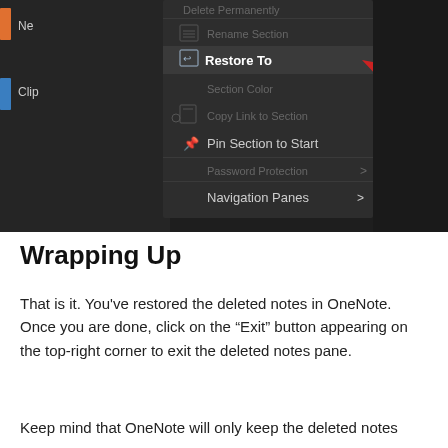[Figure (screenshot): Screenshot of OneNote dark-themed context menu showing options including 'Restore To' highlighted with a red arrow pointing to it, and 'Pin Section to Start', 'Navigation Panes' options visible. Orange and blue colored section tabs visible on left.]
Wrapping Up
That is it. You've restored the deleted notes in OneNote. Once you are done, click on the “Exit” button appearing on the top-right corner to exit the deleted notes pane.
Keep mind that OneNote will only keep the deleted notes